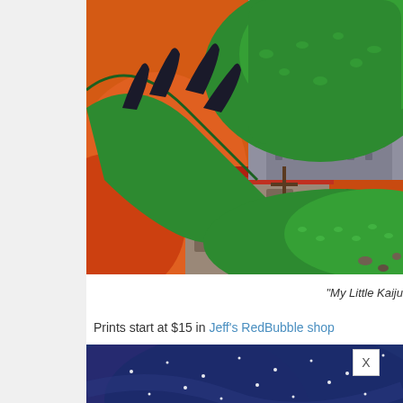[Figure (illustration): Close-up painting of a giant green monster/kaiju claw grasping over a building, with crosses visible in the background, fiery orange and red sky, expressionist style.]
"My Little Kaiju
Prints start at $15 in Jeff's RedBubble shop
[Figure (illustration): Dark blue painting with stars/sparkles and a partial figure, night sky scene.]
[Figure (other): Advertisement banner: Snack Time Made Easy - Wegmans]